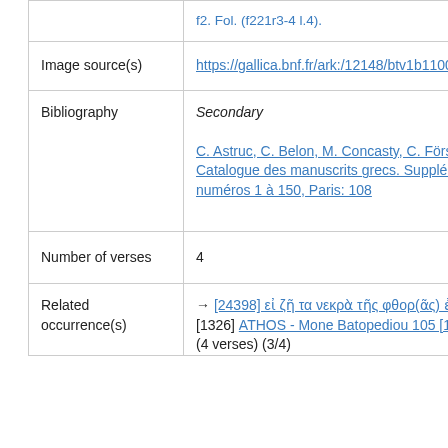| Image source(s) | https://gallica.bnf.fr/ark:/12148/btv1b11004891g/f16.item |
| Bibliography | Secondary

C. Astruc, C. Belon, M. Concasty, C. Förstel, 2003, Catalogue des manuscrits grecs. Supplément grec numéros 1 à 150, Paris: 108 |
| Number of verses | 4 |
| Related occurrence(s) | → [24398] εἰ ζῆ τα νεκρὰ τῆς φθορ(ᾶς) ἐφθαρμ(ένης) [1326] ATHOS - Mone Batopediou 105 [1326] (f. 5r)
(4 verses) (3/4) |